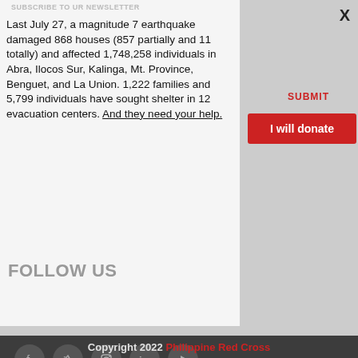SUBSCRIBE TO UR NEWSLETTER
Last July 27, a magnitude 7 earthquake damaged 868 houses (857 partially and 11 totally) and affected 1,748,258 individuals in Abra, Ilocos Sur, Kalinga, Mt. Province, Benguet, and La Union. 1,222 families and 5,799 individuals have sought shelter in 12 evacuation centers. And they need your help.
SUBMIT
I will donate
FOLLOW US
[Figure (illustration): Social media icons row: Facebook, Twitter, Instagram, LinkedIn, YouTube]
Check out our Apps
[Figure (illustration): Warning triangle icon (broken image indicator)]
Copyright 2022 Philippine Red Cross